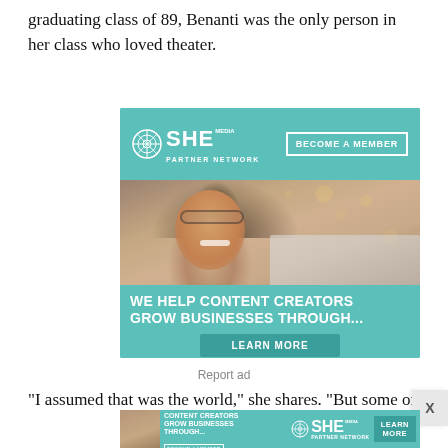graduating class of 89, Benanti was the only person in her class who loved theater.
[Figure (infographic): SHE Media Partner Network advertisement. Teal/turquoise background with SHE MEDIA logo and BECOME A MEMBER button at top. Photo of smiling woman with glasses and curly hair using a tablet. Text reads: WE HELP CONTENT CREATORS GROW BUSINESSES THROUGH... with a LEARN MORE button.]
Report ad
“I assumed that was the world,” she shares. “But some of
[Figure (infographic): SHE Media Partner Network banner advertisement (smaller version). Shows woman with tablet, WE HELP CONTENT CREATORS GROW BUSINESSES THROUGH... text, SHE MEDIA logo, PARTNER NETWORK BECOME A MEMBER text, and LEARN MORE button.]